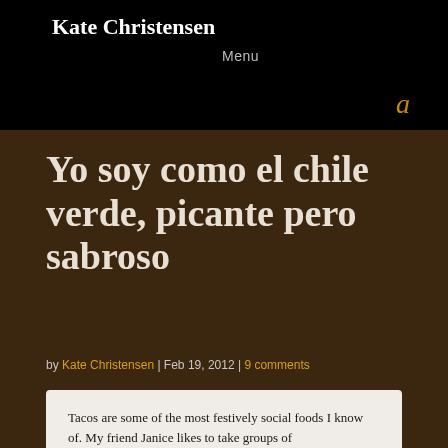Kate Christensen
Menu
a
Yo soy como el chile verde, picante pero sabroso
by Kate Christensen | Feb 19, 2012 | 9 comments
Tacos are some of the most festively social foods I know of. My friend Janice likes to take groups of